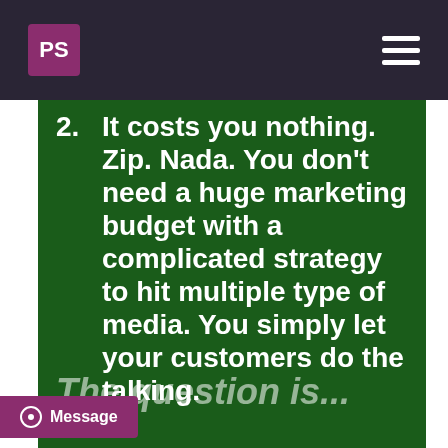PS
2. It costs you nothing. Zip. Nada. You don't need a huge marketing budget with a complicated strategy to hit multiple type of media. You simply let your customers do the talking.
The question is...